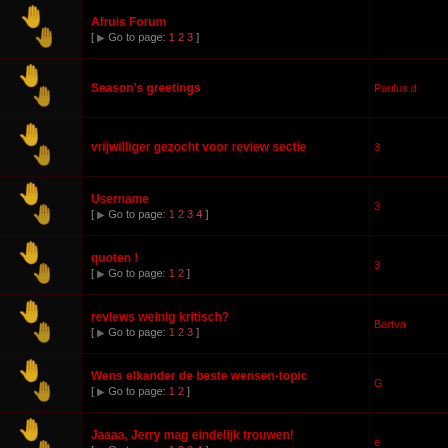Afruis Forum [ Go to page: 1 2 3 ]
Season's greetings — last post: Paulus.d
vrijwilliger gezocht voor review sectie
Username [ Go to page: 1 2 3 4 ]
quoten ! [ Go to page: 1 2 ]
reviews weinig kritisch? [ Go to page: 1 2 3 ] — last post: Bartva
Wens elkander de beste wensen-topic [ Go to page: 1 2 ] — last post: G
Jaaaa, Jerry mag eindelijk trouwen! [ Go to page: 1 2 3 4 ]
Prettige Feestdagen
Display topics from previous: All Topics Sort by Po
New Topic  Page 1 of 2  [ 60 topics ]